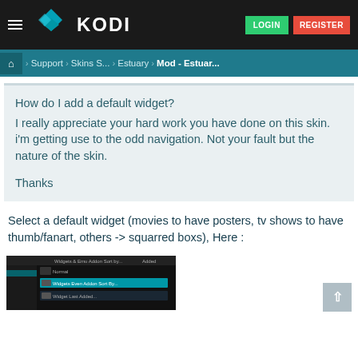[Figure (screenshot): Kodi website navigation bar with hamburger menu, Kodi logo with teal diamond icon, LOGIN (green) and REGISTER (red) buttons on dark background]
Home > Support > Skins S... > Estuary > Mod - Estuar...
How do I add a default widget?
I really appreciate your hard work you have done on this skin. i'm getting use to the odd navigation. Not your fault but the nature of the skin.

Thanks
Select a default widget (movies to have posters, tv shows to have thumb/fanart, others -> squarred boxs), Here :
[Figure (screenshot): Kodi skin settings dialog showing widget configuration options with teal/blue highlight on selected item]